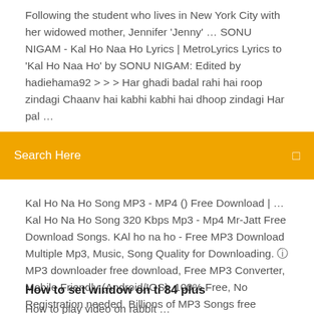Following the student who lives in New York City with her widowed mother, Jennifer 'Jenny' … SONU NIGAM - Kal Ho Naa Ho Lyrics | MetroLyrics Lyrics to 'Kal Ho Naa Ho' by SONU NIGAM: Edited by hadiehama92 > > > Har ghadi badal rahi hai roop zindagi Chaanv hai kabhi kabhi hai dhoop zindagi Har pal …
[Figure (screenshot): Orange search bar with 'Search Here' placeholder text and a search icon on the right]
Kal Ho Na Ho Song MP3 - MP4 () Free Download | … Kal Ho Na Ho Song 320 Kbps Mp3 - Mp4 Mr-Jatt Free Download Songs. KAl ho na ho - Free MP3 Download Multiple Mp3, Music, Song Quality for Downloading. ⓘ MP3 downloader free download, Free MP3 Converter, Mobile Friendly (Android/IOS), 100% Free, No Registration needed. Billions of MP3 Songs free Download. Kal Ho Naa Ho (2003) Movie Mp3 Songs - …
How to set window on ti 84 plus
How to play video on rabbit …